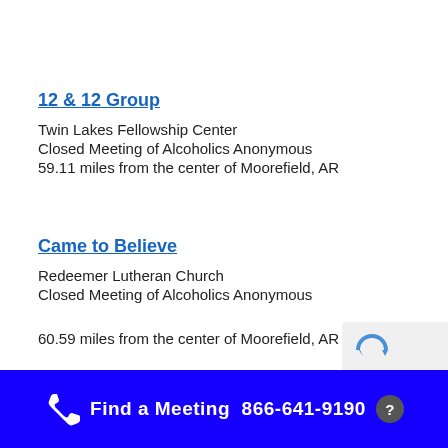12 & 12 Group
Twin Lakes Fellowship Center
Closed Meeting of Alcoholics Anonymous
59.11 miles from the center of Moorefield, AR
Came to Believe
Redeemer Lutheran Church
Closed Meeting of Alcoholics Anonymous
60.59 miles from the center of Moorefield, AR
Find a Meeting  866-641-9190